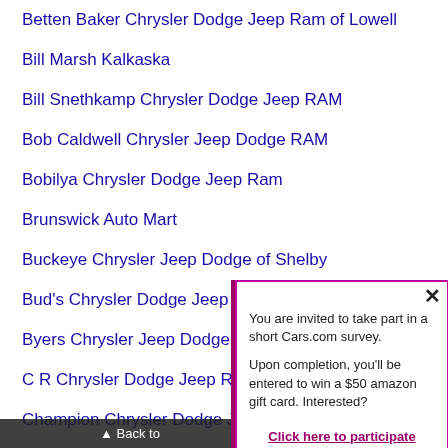Betten Baker Chrysler Dodge Jeep Ram of Lowell
Bill Marsh Kalkaska
Bill Snethkamp Chrysler Dodge Jeep RAM
Bob Caldwell Chrysler Jeep Dodge RAM
Bobilya Chrysler Dodge Jeep Ram
Brunswick Auto Mart
Buckeye Chrysler Jeep Dodge of Shelby
Bud's Chrysler Dodge Jeep
Byers Chrysler Jeep Dodge
C R Chrysler Dodge Jeep R…
Champion Chrysler Dodge J…
Champion Chrysler Jeep Dodge
Charlie's Dodge-Chrysler-Jeep
Classic Chrysler Dodge Jeep Ram of Madison
Back to top
[Figure (screenshot): Research Request popup overlay with purple tab on left side. Contains close button (×), text: 'You are invited to take part in a short Cars.com survey. Upon completion, you'll be entered to win a $50 amazon gift card. Interested?' and a link 'Click here to participate'.]